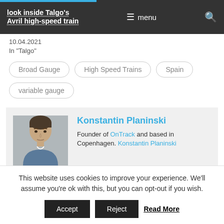look inside Talgo's Avril high-speed train
10.04.2021
In "Talgo"
Broad Gauge
High Speed Trains
Spain
variable gauge
[Figure (photo): Portrait photo of Konstantin Planinski]
Konstantin Planinski
Founder of OnTrack and based in Copenhagen. Konstantin Planinski
This website uses cookies to improve your experience. We'll assume you're ok with this, but you can opt-out if you wish.